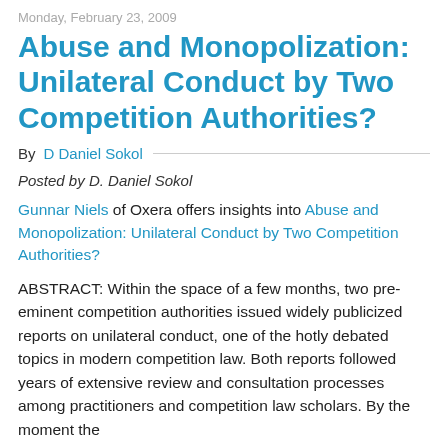Monday, February 23, 2009
Abuse and Monopolization: Unilateral Conduct by Two Competition Authorities?
By D Daniel Sokol
Posted by D. Daniel Sokol
Gunnar Niels of Oxera offers insights into Abuse and Monopolization: Unilateral Conduct by Two Competition Authorities?
ABSTRACT: Within the space of a few months, two pre-eminent competition authorities issued widely publicized reports on unilateral conduct, one of the hotly debated topics in modern competition law. Both reports followed years of extensive review and consultation processes among practitioners and competition law scholars. By the moment the